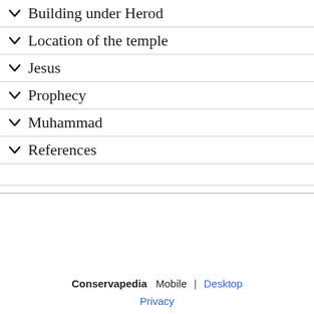Building under Herod
Location of the temple
Jesus
Prophecy
Muhammad
References
Conservapedia  Mobile | Desktop  Privacy